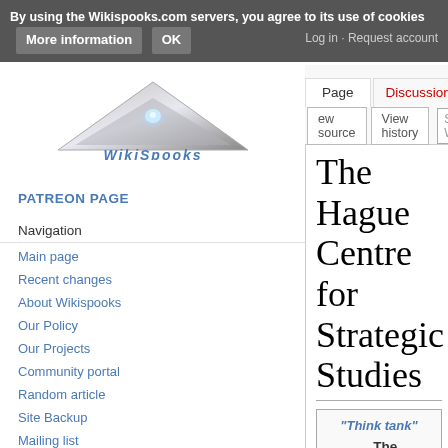By using the Wikispooks.com servers, you agree to its use of cookies  More information  OK
[Figure (logo): WikiSpooks triangle logo with text 'WikiSpooks' below in blue italic]
Page  Discussion  View source  View history  Search Wik
PATREON PAGE
Navigation
Main page
Recent changes
About Wikispooks
Our Policy
Our Projects
Community portal
Random article
Site Backup
Mailing list
The Hague Centre for Strategic Studies
| "Think tank" |
| The Hague Centre for Strategic Studies |
| (Deep state milieu, Propaganda) |